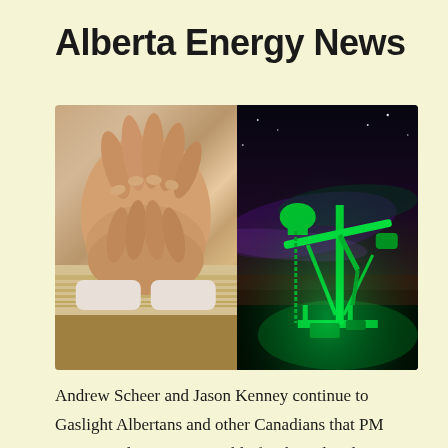Alberta Energy News
[Figure (photo): Two side-by-side photos: left shows clasped hands resting on an open book (prayer hands on Bible); right shows an oil pump jack illuminated in green light against a night sky with aurora colors.]
Andrew Scheer and Jason Kenney continue to Gaslight Albertans and other Canadians that PM Justin Trudeau is responsible for the Oil and Gas industry's downturn